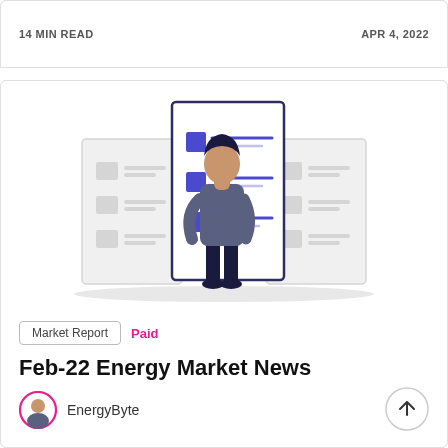14 MIN READ
APR 4, 2022
[Figure (illustration): Illustration of a person standing in front of a large document/checklist board with blue squares and lines, flanked by two smaller documents]
Market Report
Paid
Feb-22 Energy Market News
EnergyByte